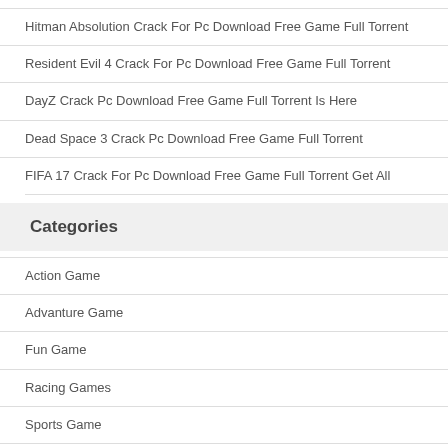Hitman Absolution Crack For Pc Download Free Game Full Torrent
Resident Evil 4 Crack For Pc Download Free Game Full Torrent
DayZ Crack Pc Download Free Game Full Torrent Is Here
Dead Space 3 Crack Pc Download Free Game Full Torrent
FIFA 17 Crack For Pc Download Free Game Full Torrent Get All
Categories
Action Game
Advanture Game
Fun Game
Racing Games
Sports Game
Uncategorized
Window Game